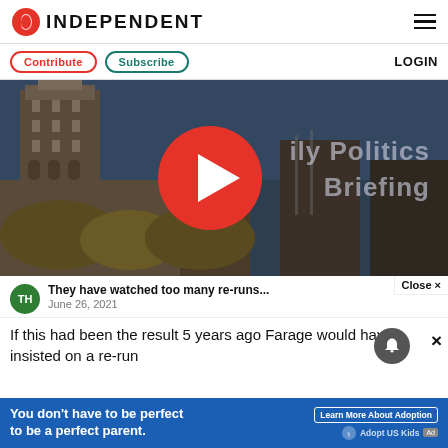INDEPENDENT
Contribute  Subscribe  LOGIN
[Figure (screenshot): Video thumbnail showing Houses of Parliament / Westminster with overlay text 'Daily Politics Briefing' and a large red play button in the center]
Close ×
They have watched too many re-runs...  June 26, 2021
If this had been the result 5 years ago Farage would have insisted on a re-run
You don't have to be perfect to be a perfect parent.  Learn More About Adoption  Adopt US Kids  Ad